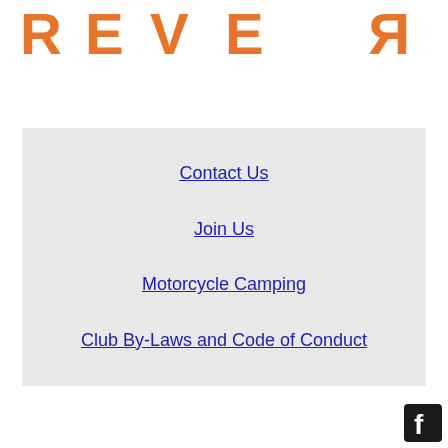[Figure (logo): REVER logo in orange, mirrored/stylized text on white background]
Contact Us
Join Us
Motorcycle Camping
Club By-Laws and Code of Conduct
[Figure (logo): Facebook logo icon, white F on dark blue/black square, bottom right corner]